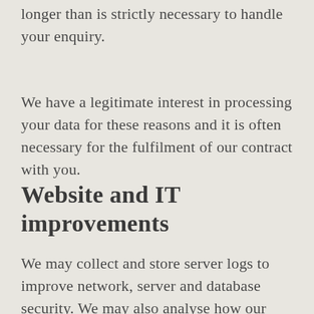longer than is strictly necessary to handle your enquiry.
We have a legitimate interest in processing your data for these reasons and it is often necessary for the fulfilment of our contract with you.
Website and IT improvements
We may collect and store server logs to improve network, server and database security. We may also analyse how our website users interact with our website and its features. For example, we may analyse total visitor numbers and unique visitors, the time and date of the visit, whether certain pages or sequences of pages